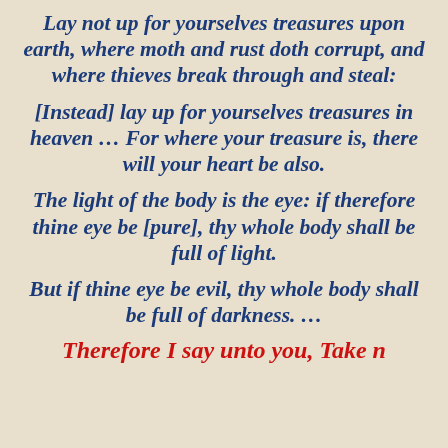Lay not up for yourselves treasures upon earth, where moth and rust doth corrupt, and where thieves break through and steal:
[Instead] lay up for yourselves treasures in heaven … For where your treasure is, there will your heart be also.
The light of the body is the eye: if therefore thine eye be [pure], thy whole body shall be full of light.
But if thine eye be evil, thy whole body shall be full of darkness. …
Therefore I say unto you, Take n